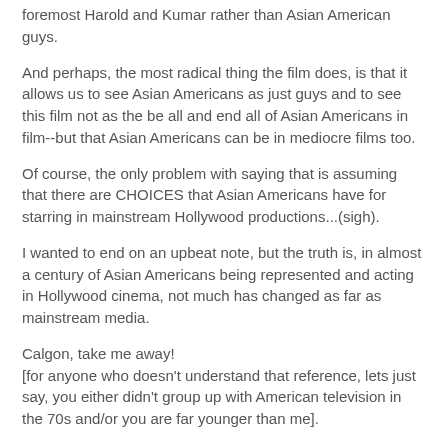foremost Harold and Kumar rather than Asian American guys.
And perhaps, the most radical thing the film does, is that it allows us to see Asian Americans as just guys and to see this film not as the be all and end all of Asian Americans in film--but that Asian Americans can be in mediocre films too.
Of course, the only problem with saying that is assuming that there are CHOICES that Asian Americans have for starring in mainstream Hollywood productions...(sigh).
I wanted to end on an upbeat note, but the truth is, in almost a century of Asian Americans being represented and acting in Hollywood cinema, not much has changed as far as mainstream media.
Calgon, take me away!
[for anyone who doesn't understand that reference, lets just say, you either didn't group up with American television in the 70s and/or you are far younger than me].